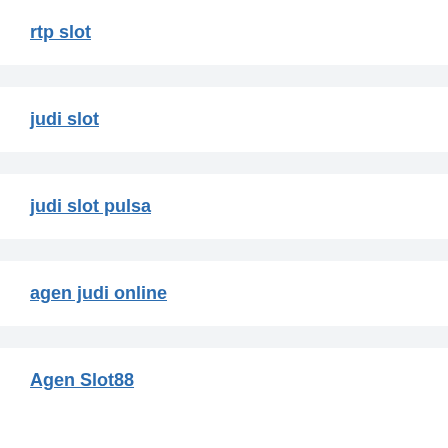rtp slot
judi slot
judi slot pulsa
agen judi online
Agen Slot88